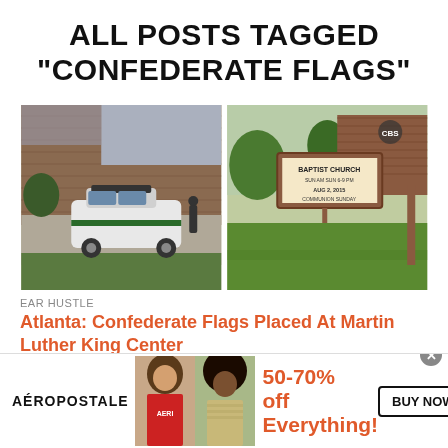ALL POSTS TAGGED "CONFEDERATE FLAGS"
[Figure (photo): Two side-by-side photos: left shows a police car parked in front of a brick building; right shows a Baptist Church sign on a lawn with a brick church in background.]
EAR HUSTLE
Atlanta: Confederate Flags Placed At Martin Luther King Center
ATLANTA (AP) — Four Confederate battle flags were found on the grounds of the Ebenezer Baptist Church near the Martin Luther Ki…
[Figure (infographic): Advertisement banner for Aéropostale. Shows two young women models, text '50-70% off Everything!' in red, and a 'BUY NOW' button. Close button (x) in top right corner.]